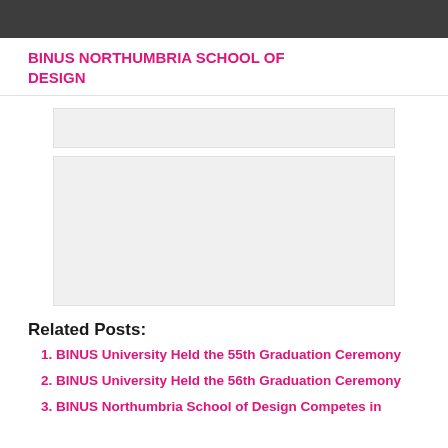BINUS NORTHUMBRIA SCHOOL OF DESIGN
[Figure (photo): Small placeholder image area (light gray rectangle)]
[Figure (photo): Large placeholder image area (light gray rectangle)]
Related Posts:
BINUS University Held the 55th Graduation Ceremony
BINUS University Held the 56th Graduation Ceremony
BINUS Northumbria School of Design Competes in